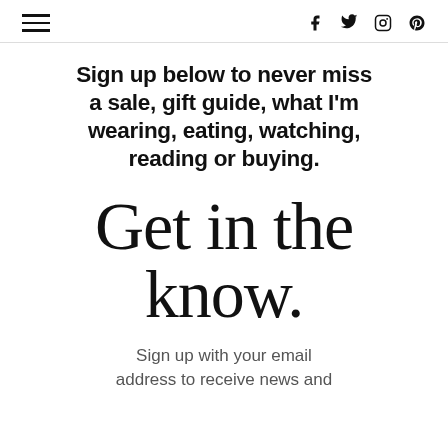≡  f  Twitter  Instagram  Pinterest
Sign up below to never miss a sale, gift guide, what I'm wearing, eating, watching, reading or buying.
Get in the know.
Sign up with your email address to receive news and